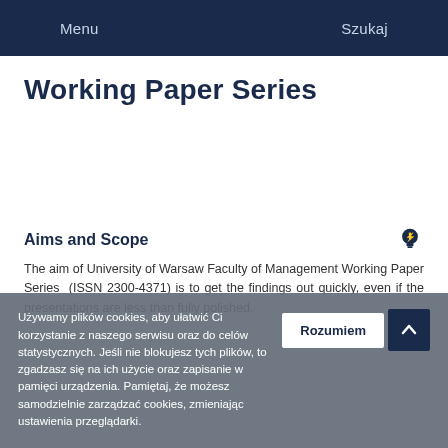Menu    Szukaj
Working Paper Series
Aims and Scope
The aim of University of Warsaw Faculty of Management Working Paper Series (ISSN 2300-4371) is to get the findings out quickly, even if the presentations are less than fully polished.
Używamy plików cookies, aby ułatwić Ci korzystanie z naszego serwisu oraz do celów statystycznych. Jeśli nie blokujesz tych plików, to zgadzasz się na ich użycie oraz zapisanie w pamięci urządzenia. Pamiętaj, że możesz samodzielnie zarządzać cookies, zmieniając ustawienia przeglądarki.